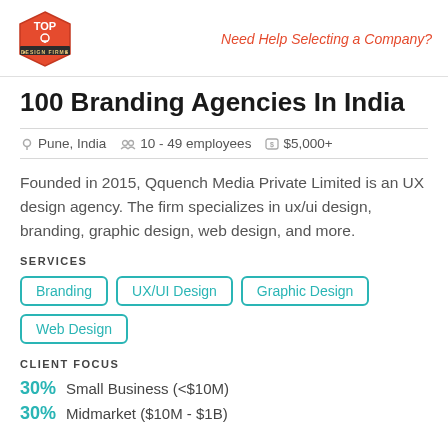Top Design Firms | Need Help Selecting a Company?
100 Branding Agencies In India
Pune, India   10 - 49 employees   $5,000+
Founded in 2015, Qquench Media Private Limited is an UX design agency. The firm specializes in ux/ui design, branding, graphic design, web design, and more.
SERVICES
Branding
UX/UI Design
Graphic Design
Web Design
CLIENT FOCUS
30% Small Business (<$10M)
30% Midmarket ($10M - $1B)